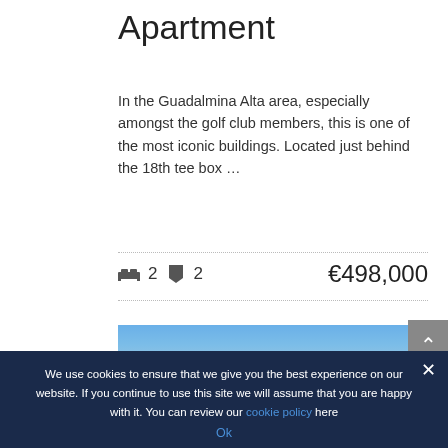Apartment
In the Guadalmina Alta area, especially amongst the golf club members, this is one of the most iconic buildings. Located just behind the 18th tee box …
🛏 2  ✦ 2     €498,000
[Figure (photo): Mountain landscape with blue sky, navigation arrows on left and right sides of photo]
We use cookies to ensure that we give you the best experience on our website. If you continue to use this site we will assume that you are happy with it. You can review our cookie policy here
OK